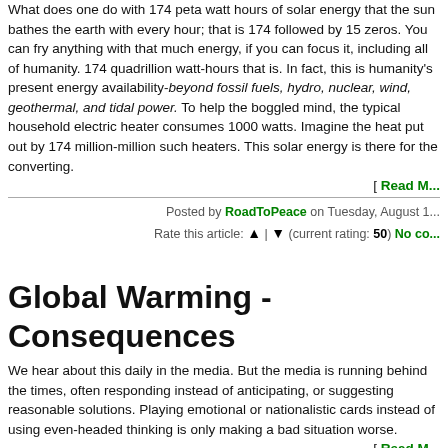What does one do with 174 peta watt hours of solar energy that the sun bathes the earth with every hour; that is 174 followed by 15 zeros. You can fry anything with that much energy, if you can focus it, including all of humanity. 174 quadrillion watt-hours that is. In fact, this is humanity's present energy availability-beyond fossil fuels, hydro, nuclear, wind, geothermal, and tidal power. To help the boggled mind, the typical household electric heater consumes 1000 watts. Imagine the heat put out by 174 million-million such heaters. This solar energy is there for the converting.
[ Read M...
Posted by RoadToPeace on Tuesday, August 1
Rate this article: ▲ | ▼ (current rating: 50) No co...
Global Warming - Consequences
We hear about this daily in the media. But the media is running behind the times, often responding instead of anticipating, or suggesting reasonable solutions. Playing emotional or nationalistic cards instead of using even-headed thinking is only making a bad situation worse.
[ Read M...
Posted by RoadToPeace on Monday, November 0
Rate this article: ▲ | ▼ (current rating: 34) No co...
Environment: Its Dynamic Equilibri...